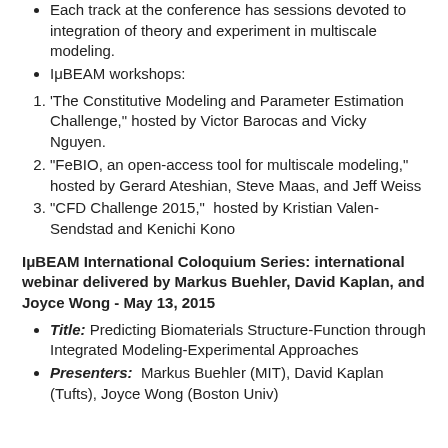Each track at the conference has sessions devoted to integration of theory and experiment in multiscale modeling.
IμBEAM workshops:
1. 'The Constitutive Modeling and Parameter Estimation Challenge,' hosted by Victor Barocas and Vicky Nguyen.
2. "FeBIO, an open-access tool for multiscale modeling," hosted by Gerard Ateshian, Steve Maas, and Jeff Weiss
3. "CFD Challenge 2015," hosted by Kristian Valen-Sendstad and Kenichi Kono
IμBEAM International Coloquium Series: international webinar delivered by Markus Buehler, David Kaplan, and Joyce Wong - May 13, 2015
Title: Predicting Biomaterials Structure-Function through Integrated Modeling-Experimental Approaches
Presenters: Markus Buehler (MIT), David Kaplan (Tufts), Joyce Wong (Boston Univ)